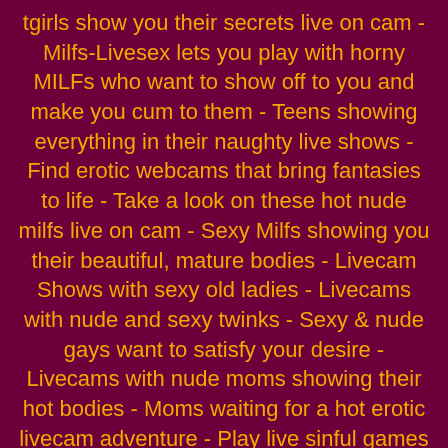tgirls show you their secrets live on cam - Milfs-Livesex lets you play with horny MILFs who want to show off to you and make you cum to them - Teens showing everything in their naughty live shows - Find erotic webcams that bring fantasies to life - Take a look on these hot nude milfs live on cam - Sexy Milfs showing you their beautiful, mature bodies - Livecam Shows with sexy old ladies - Livecams with nude and sexy twinks - Sexy & nude gays want to satisfy your desire - Livecams with nude moms showing their hot bodies - Moms waiting for a hot erotic livecam adventure - Play live sinful games with nude ladyboys - Hot & sexy shows with nude trans live on cam
Naughty Camgirls. All rights reserved.